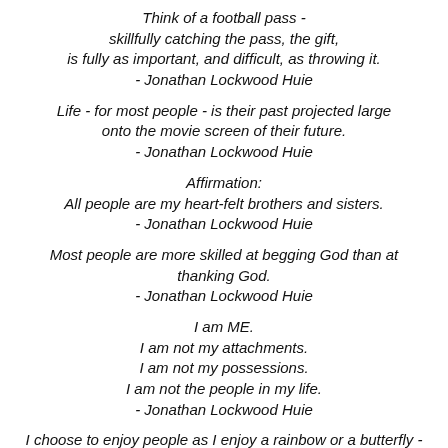Think of a football pass - skillfully catching the pass, the gift, is fully as important, and difficult, as throwing it. - Jonathan Lockwood Huie
Life - for most people - is their past projected large onto the movie screen of their future. - Jonathan Lockwood Huie
Affirmation: All people are my heart-felt brothers and sisters. - Jonathan Lockwood Huie
Most people are more skilled at begging God than at thanking God. - Jonathan Lockwood Huie
I am ME. I am not my attachments. I am not my possessions. I am not the people in my life. - Jonathan Lockwood Huie
I choose to enjoy people as I enjoy a rainbow or a butterfly - they are most beautiful when they are free. - Jonathan Lockwood Huie